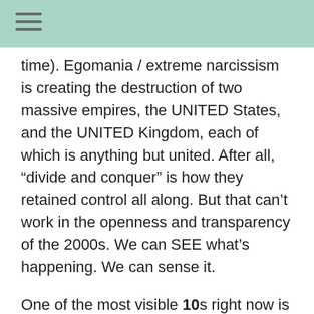time). Egomania / extreme narcissism is creating the destruction of two massive empires, the UNITED States, and the UNITED Kingdom, each of which is anything but united. After all, “divide and conquer” is how they retained control all along. But that can’t work in the openness and transparency of the 2000s. We can SEE what’s happening. We can sense it.
One of the most visible 10s right now is the headquarters of the British Government, 10 DOWNING STREET, where the British establishment has been thrown into chaos